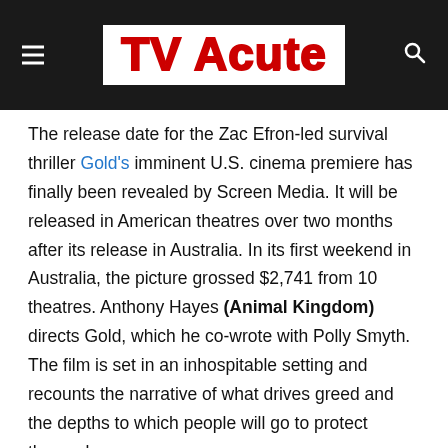TV Acute
The release date for the Zac Efron-led survival thriller Gold's imminent U.S. cinema premiere has finally been revealed by Screen Media. It will be released in American theatres over two months after its release in Australia. In its first weekend in Australia, the picture grossed $2,741 from 10 theatres. Anthony Hayes (Animal Kingdom) directs Gold, which he co-wrote with Polly Smyth. The film is set in an inhospitable setting and recounts the narrative of what drives greed and the depths to which people will go to protect themselves.
Gold Movie Release Date
On Friday, March 11, 2022, Gold will be released in American theatres. Turning Red, The Adam Project, and Fear are among the six films that will be released on the same day.